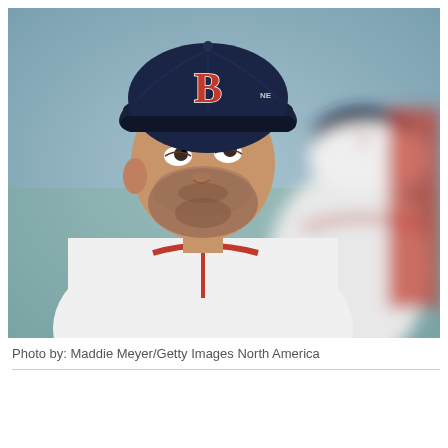[Figure (photo): A Boston Red Sox player wearing a navy blue cap with the 'B' logo and a white uniform with red trim, looking upward. In the background, another person in a similar navy cap and white uniform is visible, slightly blurred.]
Photo by: Maddie Meyer/Getty Images North America